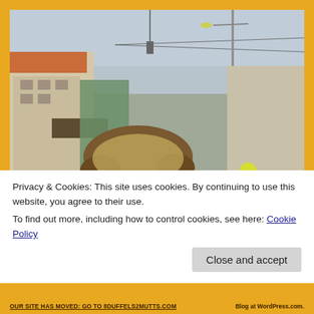[Figure (photo): A close-up photo of a young blonde girl with braided hair looking at the camera, taken on a busy street scene with people, buildings, and motorcycles in the background. The background is blurred (bokeh effect). The overall scene appears to be in a Latin American town.]
Privacy & Cookies: This site uses cookies. By continuing to use this website, you agree to their use.
To find out more, including how to control cookies, see here: Cookie Policy
Close and accept
Our Site has Moved: Go to 8dufrels2mutts.com    Blog at WordPress.com.